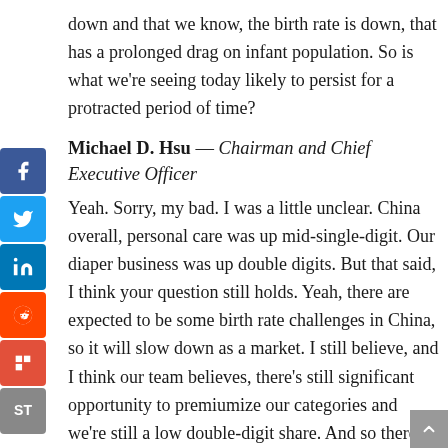down and that we know, the birth rate is down, that has a prolonged drag on infant population. So is what we're seeing today likely to persist for a protracted period of time?
Michael D. Hsu — Chairman and Chief Executive Officer
Yeah. Sorry, my bad. I was a little unclear. China overall, personal care was up mid-single-digit. Our diaper business was up double digits. But that said, I think your question still holds. Yeah, there are expected to be some birth rate challenges in China, so it will slow down as a market. I still believe, and I think our team believes, there's still significant opportunity to premiumize our categories and we're still a low double-digit share. And so there's still plenty of share opportunity. That said, I do think there will be a slowdown on the diaper side of